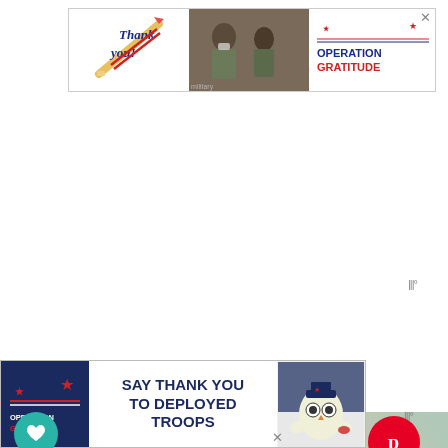[Figure (screenshot): Operation Gratitude thank you banner ad at top of webpage, showing handwritten thank you text with pencil illustration, military personnel photo, and Operation Gratitude logo with star. Close X button visible.]
[Figure (screenshot): Food photograph showing a glass mason jar filled with whipped cream or a dessert, shot from above at close range. Social sharing UI overlaid: teal heart/like button, count of 146, share icon button, red Pinterest button. 'What's Next' card showing '20 Valentine Sweet Treat...' preview. Bottom Operation Gratitude banner ad reading 'SAY THANK YOU TO DEPLOYED TROOPS'.]